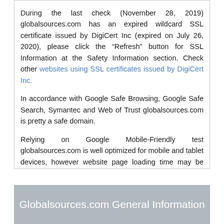During the last check (November 28, 2019) globalsources.com has an expired wildcard SSL certificate issued by DigiCert Inc (expired on July 26, 2020), please click the “Refresh” button for SSL Information at the Safety Information section. Check other websites using SSL certificates issued by DigiCert Inc.
In accordance with Google Safe Browsing, Google Safe Search, Symantec and Web of Trust globalsources.com is pretty a safe domain.
Relying on Google Mobile-Friendly test globalsources.com is well optimized for mobile and tablet devices, however website page loading time may be improved.
Globalsources.com General Information